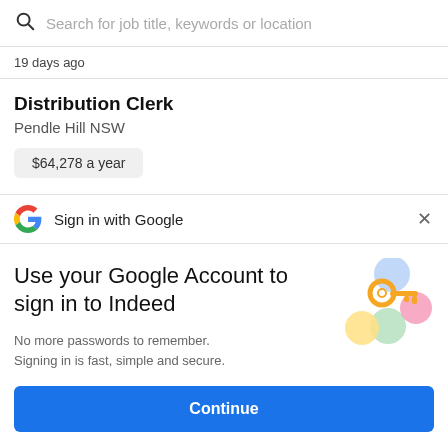Search for job title, keywords or location
19 days ago
Distribution Clerk
Pendle Hill NSW
$64,278 a year
Sign in with Google
Use your Google Account to sign in to Indeed
No more passwords to remember. Signing in is fast, simple and secure.
[Figure (illustration): Colorful illustration of a golden key surrounded by colorful circles/shields representing Google account security]
Continue